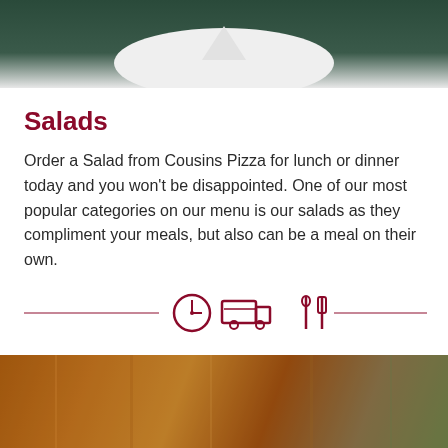[Figure (photo): Top portion of a plate/dish on dark green background, partially cropped at top]
Salads
Order a Salad from Cousins Pizza for lunch or dinner today and you won't be disappointed. One of our most popular categories on our menu is our salads as they compliment your meals, but also can be a meal on their own.
[Figure (illustration): Three dark red icons: a clock icon, a delivery truck icon, and a utensils/thermometer icon, flanked by horizontal divider lines]
[Figure (photo): Blurred background photo showing warm-toned brown/amber colors, possibly a restaurant interior]
Enter Your Name and Email to Get The Latest from Cousins